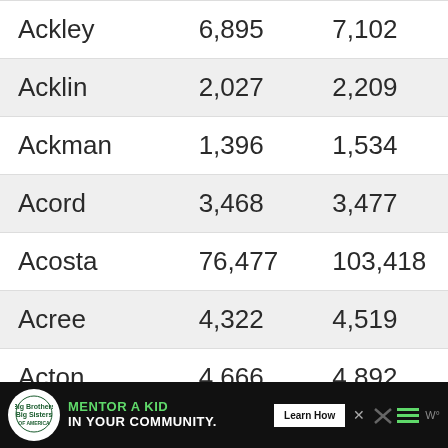| Ackley | 6,895 | 7,102 |
| Acklin | 2,027 | 2,209 |
| Ackman | 1,396 | 1,534 |
| Acord | 3,468 | 3,477 |
| Acosta | 76,477 | 103,418 |
| Acree | 4,322 | 4,519 |
| Acton | 4,666 | 4,892 |
| Acuff | 2,475 | 2,458 |
[Figure (infographic): Advertisement banner: Big Brothers Big Sisters - Mentor a Kid in Your Community. Learn How button. Dark background with green text and logo.]